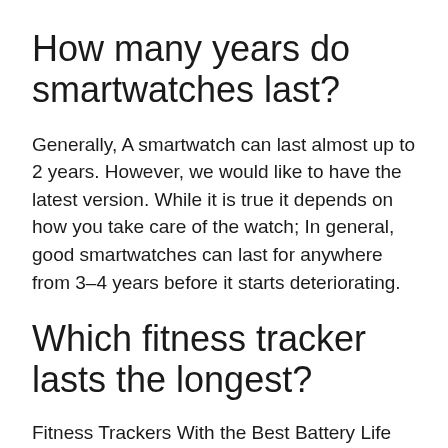How many years do smartwatches last?
Generally, A smartwatch can last almost up to 2 years. However, we would like to have the latest version. While it is true it depends on how you take care of the watch; In general, good smartwatches can last for anywhere from 3–4 years before it starts deteriorating.
Which fitness tracker lasts the longest?
Fitness Trackers With the Best Battery Life